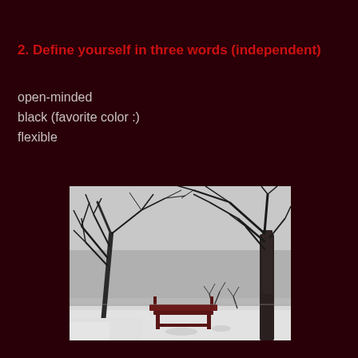2. Define yourself in three words (independent)
open-minded
black (favorite color :)
flexible
[Figure (photo): Black and white winter scene with bare trees, a snow-covered ground, a red park bench in the center, and a misty lake or open area in the background.]